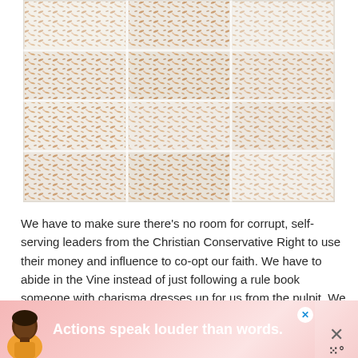[Figure (photo): Overhead close-up photo of white frosted baked bars or squares topped with toasted coconut flakes, cut into a 3×4 grid, arranged on what appears to be parchment or foil.]
We have to make sure there's no room for corrupt, self-serving leaders from the Christian Conservative Right to use their money and influence to co-opt our faith. We have to abide in the Vine instead of just following a rule book someone with charisma dresses up for us from the pulpit. We have to be willing to challenge our friends' — and our own — homophobia, misogyny, racism, and tunnel vision
[Figure (infographic): Advertisement banner at the bottom of the page. Pinkish/rosy gradient background with an illustrated person (dark skin, yellow top) on the left, bold white text 'Actions speak louder than words.' in the center, a small circular close (X) button, and a logo area with X and dot pattern on the right.]